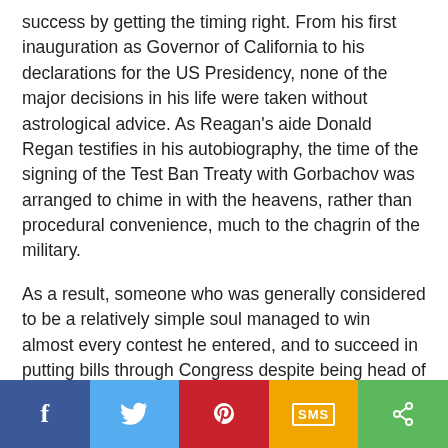success by getting the timing right. From his first inauguration as Governor of California to his declarations for the US Presidency, none of the major decisions in his life were taken without astrological advice. As Reagan's aide Donald Regan testifies in his autobiography, the time of the signing of the Test Ban Treaty with Gorbachov was arranged to chime in with the heavens, rather than procedural convenience, much to the chagrin of the military.
As a result, someone who was generally considered to be a relatively simple soul managed to win almost every contest he entered, and to succeed in putting bills through Congress despite being head of a minority Government.
Social share bar: Facebook, Twitter, Pinterest, SMS, Share